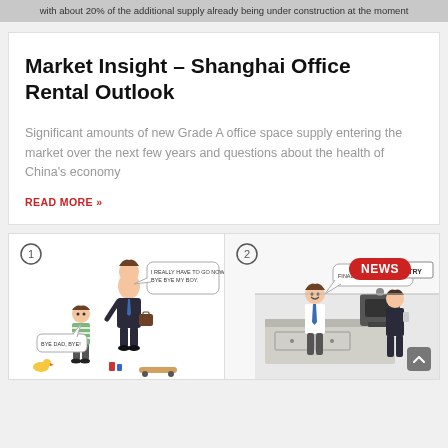with about 20% of the additional supply already being under construction at the moment
Market Insight – Shanghai Office Rental Outlook
Significant amounts of new Grade A office space supply entering the market over the next few years and questions about the health of China's economy
READ MORE »
[Figure (illustration): Two-panel comic strip. Panel 1 (circled number 1): A tall adult man in a suit with a briefcase says 'I REALLY HAVE TO GO NOW. BYE BYE MY BOY.' A small child in a striped shirt responds 'BYE DAD, BYE!'. There are toys on the ground (a duck, cans, a skateboard). Panel 2 (circled number 2): An office kitchen scene where a man in a white shirt stands at a counter with a coffee machine. A speech bubble says 'FINALLY... REAL C...' with a 'NEWS' badge overlay and a 'PANTRY' sign on the wall.]